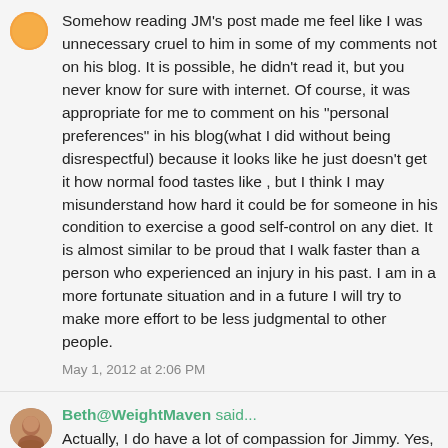Somehow reading JM's post made me feel like I was unnecessary cruel to him in some of my comments not on his blog. It is possible, he didn't read it, but you never know for sure with internet. Of course, it was appropriate for me to comment on his "personal preferences" in his blog(what I did without being disrespectful) because it looks like he just doesn't get it how normal food tastes like , but I think I may misunderstand how hard it could be for someone in his condition to exercise a good self-control on any diet. It is almost similar to be proud that I walk faster than a person who experienced an injury in his past. I am in a more fortunate situation and in a future I will try to make more effort to be less judgmental to other people.
May 1, 2012 at 2:06 PM
Beth@WeightMaven said...
Actually, I do have a lot of compassion for Jimmy. Yes, he's made his bed (and can be unkind if it supports his ideology), but I feel for